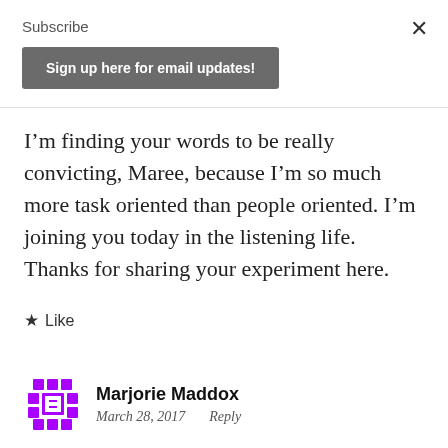Subscribe
Sign up here for email updates!
I’m finding your words to be really convicting, Maree, because I’m so much more task oriented than people oriented. I’m joining you today in the listening life. Thanks for sharing your experiment here.
★ Like
Marjorie Maddox
March 28, 2017   Reply